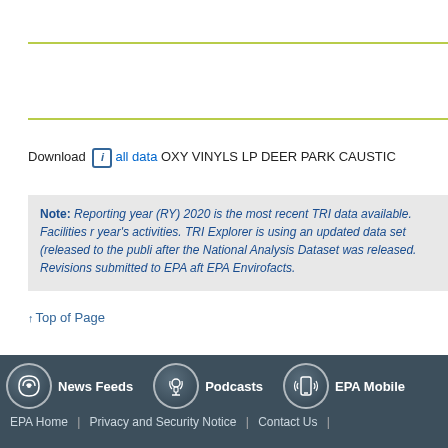Download [i] all data OXY VINYLS LP DEER PARK CAUSTIC
Note: Reporting year (RY) 2020 is the most recent TRI data available. Facilities r... year's activities. TRI Explorer is using an updated data set (released to the public... after the National Analysis Dataset was released. Revisions submitted to EPA aft... EPA Envirofacts.
↑Top of Page
News Feeds | Podcasts | EPA Mobile | EPA Home | Privacy and Security Notice | Contact Us |